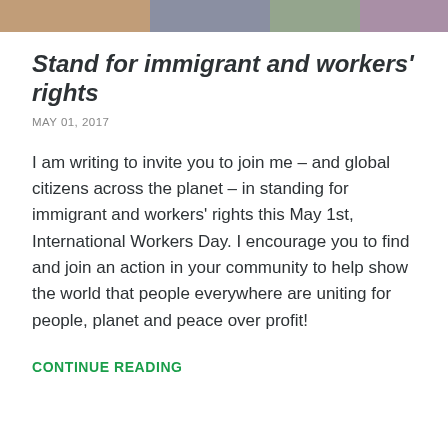[Figure (photo): Decorative photo strip at top of page showing protesters or crowd scene]
Stand for immigrant and workers' rights
MAY 01, 2017
I am writing to invite you to join me – and global citizens across the planet – in standing for immigrant and workers' rights this May 1st, International Workers Day. I encourage you to find and join an action in your community to help show the world that people everywhere are uniting for people, planet and peace over profit!
CONTINUE READING